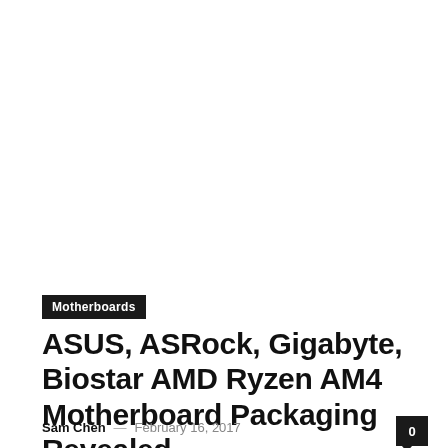[Figure (photo): White/blank image area at the top of the page]
Motherboards
ASUS, ASRock, Gigabyte, Biostar AMD Ryzen AM4 Motherboard Packaging Revealed
Sam Chen  —  February 16, 2017
0